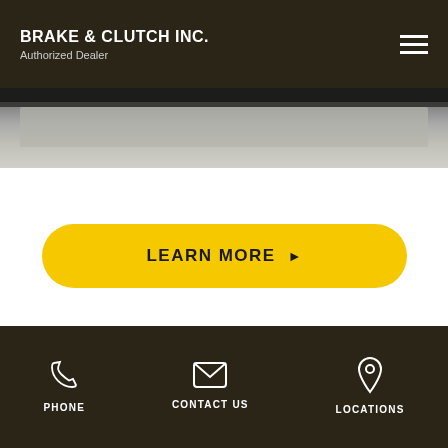BRAKE & CLUTCH INC. — Authorized Dealer
[Figure (photo): Partial photo of equipment or machinery, gray/silver tones with dark bar at top]
LEARN MORE ▶
Sourcewell Contract
PHONE   CONTACT US   LOCATIONS